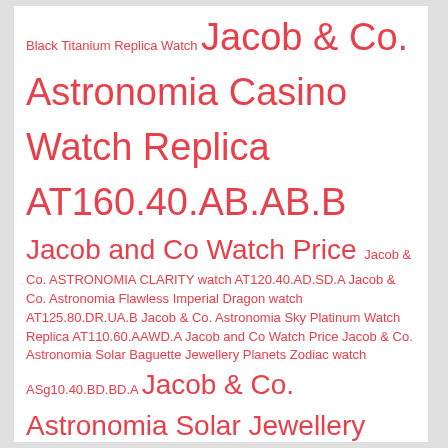Black Titanium Replica Watch Jacob & Co. Astronomia Casino Watch Replica AT160.40.AB.AB.B Jacob and Co Watch Price Jacob & Co. ASTRONOMIA CLARITY watch AT120.40.AD.SD.A Jacob & Co. Astronomia Flawless Imperial Dragon watch AT125.80.DR.UA.B Jacob & Co. Astronomia Sky Platinum Watch Replica AT110.60.AAWD.A Jacob and Co Watch Price Jacob & Co. Astronomia Solar Baguette Jewellery Planets Zodiac watch ASg10.40.BD.BD.A Jacob & Co. Astronomia Solar Jewellery Planets Zodiac watch AS310.40.SP.ZK.A Jacob & Co. Astronomia Tourbillon 3D Watch Replica AT800.30.BD.UI.B Jacob & Co. Astronomia TOURBILLON BLACK GOLD Watch Replica AT100.31.AC.SD.A Jacob & Co. Astronomia watch AF321.40.BA.AB.A Jacob & Co. Bugatti Chiron Tourbillon Watch Replica BU200.20.AE.AB.ABRUA Jacob & Co. CAVIAR TOURBILLON CAMO